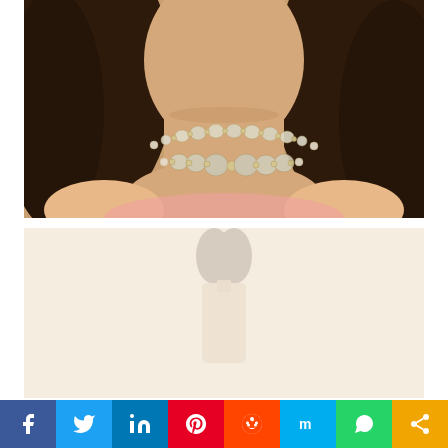[Figure (photo): Close-up photo of a woman with long dark hair wearing a double-strand diamond/gemstone necklace against a warm beige background, showing neck and shoulders area.]
[Figure (photo): Second photo of the same woman, very faded/washed out, showing a full figure shot against a light beige background.]
[Figure (infographic): Social media sharing bar at the bottom with icons for Facebook, Twitter, LinkedIn, Pinterest, Reddit, Mix, WhatsApp, and a share button.]